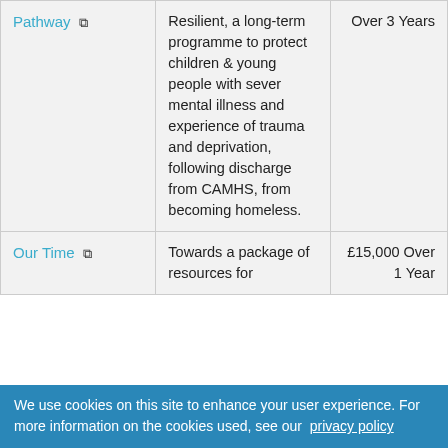| Organisation | Description | Amount/Duration |
| --- | --- | --- |
| Pathway [link] | Resilient, a long-term programme to protect children & young people with sever mental illness and experience of trauma and deprivation, following discharge from CAMHS, from becoming homeless. | Over 3 Years |
| Our Time [link] | Towards a package of resources for | £15,000 Over 1 Year |
We use cookies on this site to enhance your user experience. For more information on the cookies used, see our privacy policy